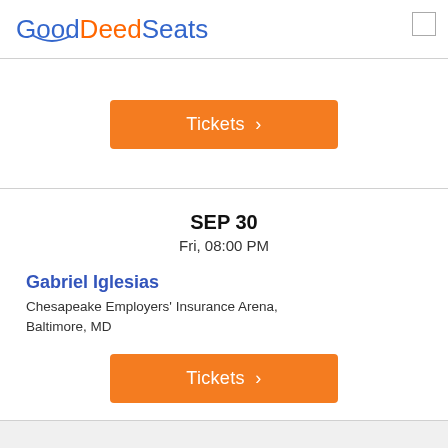GoodDeedSeats
[Figure (other): Orange Tickets button with right arrow in top card section]
SEP 30
Fri, 08:00 PM
Gabriel Iglesias
Chesapeake Employers' Insurance Arena, Baltimore, MD
[Figure (other): Orange Tickets button with right arrow in bottom card section]